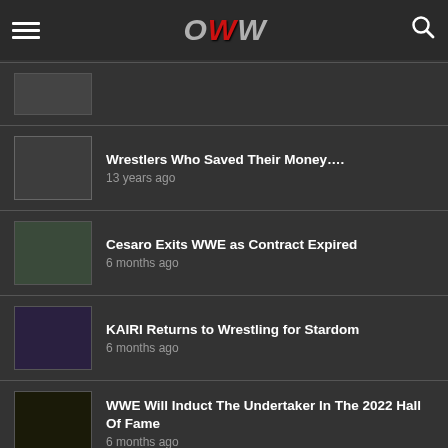OWW — Online World of Wrestling
Wrestlers Who Saved Their Money…. — 13 years ago
Cesaro Exits WWE as Contract Expired — 6 months ago
KAIRI Returns to Wrestling for Stardom — 6 months ago
WWE Will Induct The Undertaker In The 2022 Hall Of Fame — 6 months ago
NEW PROFILES